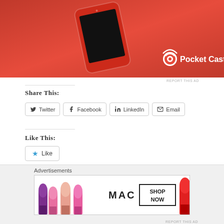[Figure (photo): Pocket Casts app advertisement banner with red background, phone device, and Pocket Casts logo in white]
REPORT THIS AD
Share This:
Twitter
Facebook
LinkedIn
Email
Like This:
Like
Be the first to like this.
Advertisements
[Figure (photo): MAC cosmetics advertisement showing lipsticks in purple, pink, peach colors with 'MAC' brand name and 'SHOP NOW' call to action button]